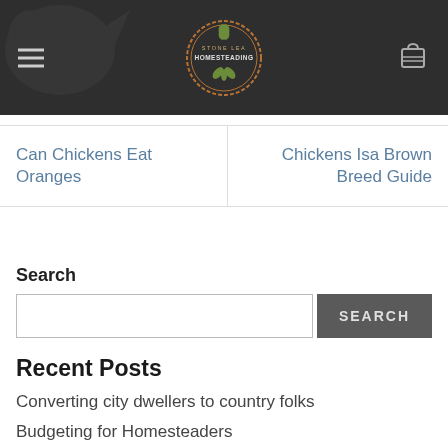[Figure (screenshot): Website header with dark background, hamburger menu icon on left, Stone Lea Homesteading badge logo in center, shopping cart icon on right, bird silhouette watermark on left]
Can Chickens Eat Oranges
Chickens Isa Brown Breed Guide
Search
SEARCH
Recent Posts
Converting city dwellers to country folks
Budgeting for Homesteaders
Google Earth farm history